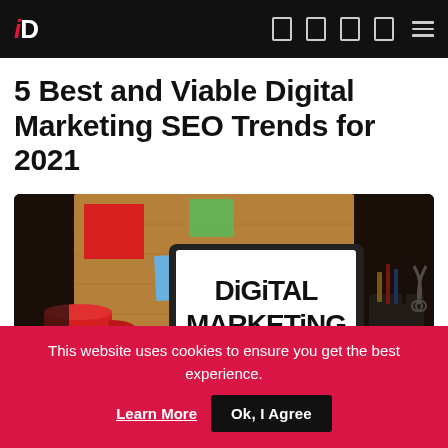iD [navigation bar with logo and icons]
5 Best and Viable Digital Marketing SEO Trends for 2021
[Figure (photo): Laptop on a desk displaying 'DiGiTAL MARKETiNG' text in bold on its screen, with a cork notice board behind it, a red coffee mug to the left, and a pencil holder to the right.]
This website uses cookies to ensure you get the best experience. Learn More Ok, I Agree